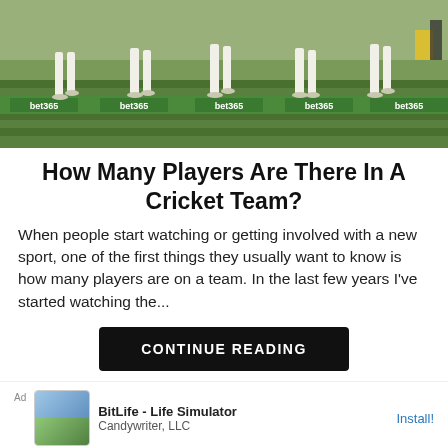[Figure (photo): Cricket players walking on a field with bet365 advertising boards visible along the boundary.]
How Many Players Are There In A Cricket Team?
When people start watching or getting involved with a new sport, one of the first things they usually want to know is how many players are on a team. In the last few years I've started watching the...
CONTINUE READING
Ad  BitLife - Life Simulator  Candywriter, LLC  Install!